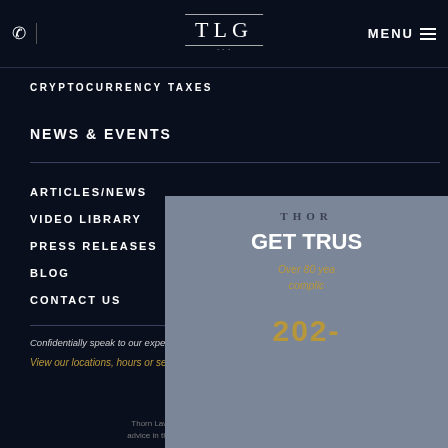[Figure (logo): TLG logo with decorative lines]
MENU
CRYPTOCURRENCY TAXES
NEWS & EVENTS
ARTICLES/NEWS
VIDEO LIBRARY
PRESS RELEASES
BLOG
CONTACT US
Confidentially speak to our experienced ta...
View our locations, hours or send us a mes...
[Figure (screenshot): Overlay panel: THOR - GET TRUS... Over 80 yea... complic... 202-]
Thorn Law Group is an IRS tax law firm comprised o... advice in the areas of IRS, Tax, audits, voluntary disclo...